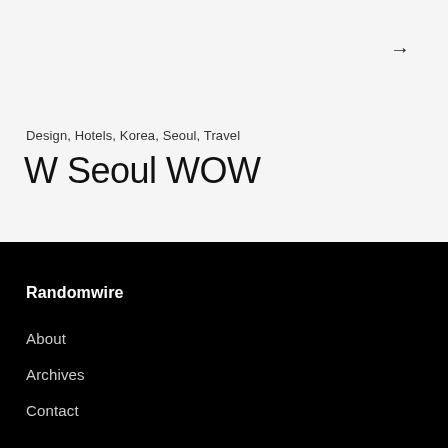→
Design, Hotels, Korea, Seoul, Travel
W Seoul WOW
Randomwire
About
Archives
Contact